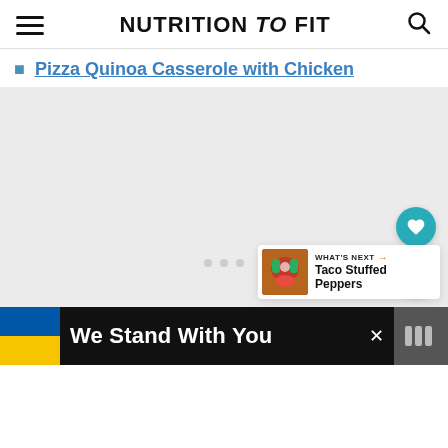NUTRITION to FIT
Pizza Quinoa Casserole with Chicken
[Figure (other): Light gray content area placeholder with floating action buttons (heart/save and share), a 'What's Next' card showing Taco Stuffed Peppers, and loading dots]
We Stand With You